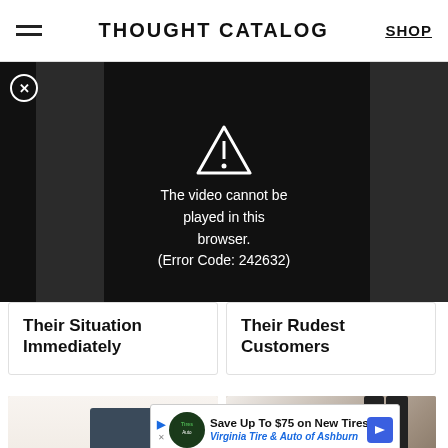THOUGHT CATALOG  SHOP
[Figure (screenshot): Video player with error message: The video cannot be played in this browser. (Error Code: 242632)]
Their Situation Immediately
Their Rudest Customers
[Figure (photo): Person typing on a laptop with flowers and a mug nearby on a white desk]
[Figure (photo): Person lying on the floor with another person standing over them]
Every After Diffe
One le Day
[Figure (infographic): Advertisement: Save Up To $75 on New Tires — Virginia Tire & Auto of Ashburn]